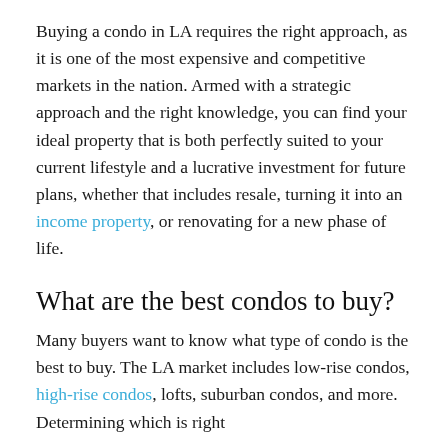Buying a condo in LA requires the right approach, as it is one of the most expensive and competitive markets in the nation. Armed with a strategic approach and the right knowledge, you can find your ideal property that is both perfectly suited to your current lifestyle and a lucrative investment for future plans, whether that includes resale, turning it into an income property, or renovating for a new phase of life.
What are the best condos to buy?
Many buyers want to know what type of condo is the best to buy. The LA market includes low-rise condos, high-rise condos, lofts, suburban condos, and more. Determining which is right